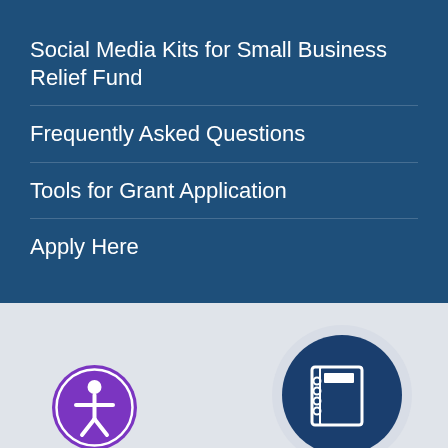Social Media Kits for Small Business Relief Fund
Frequently Asked Questions
Tools for Grant Application
Apply Here
[Figure (illustration): Purple accessibility icon circle with a person figure in the center]
[Figure (illustration): Blue circular icon with a notebook/document graphic in the center, on a light shadow base]